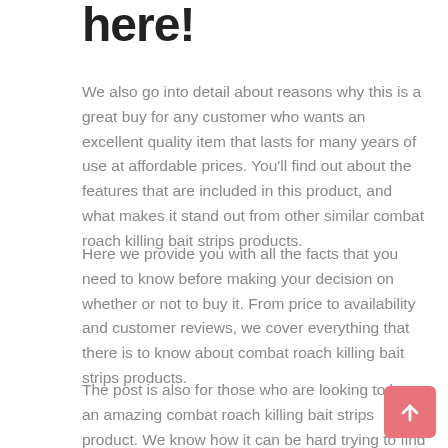here!
We also go into detail about reasons why this is a great buy for any customer who wants an excellent quality item that lasts for many years of use at affordable prices. You'll find out about the features that are included in this product, and what makes it stand out from other similar combat roach killing bait strips products.
Here we provide you with all the facts that you need to know before making your decision on whether or not to buy it. From price to availability and customer reviews, we cover everything that there is to know about combat roach killing bait strips products.
The post is also for those who are looking to buy an amazing combat roach killing bait strips product. We know how it can be hard trying to find a quality combat roach killing bait strips product, so we've